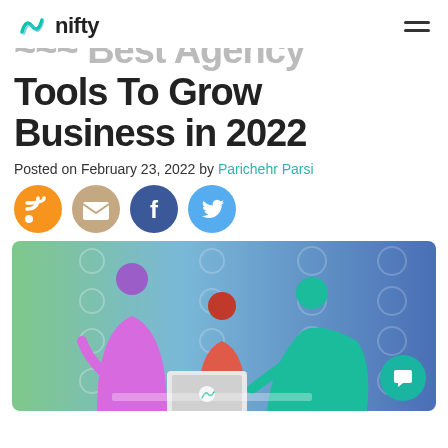nifty
Best Agency Tools To Grow Business in 2022
Posted on February 23, 2022 by Parichehr Parsi
[Figure (other): Social share icons: RSS (orange), Email (beige/tan), Facebook (blue), Twitter (light blue)]
[Figure (illustration): Illustration of three colorful silhouetted figures collaborating around a laptop on a gradient green-to-blue background with circle decorations. A teal chat bubble icon overlaid bottom right.]